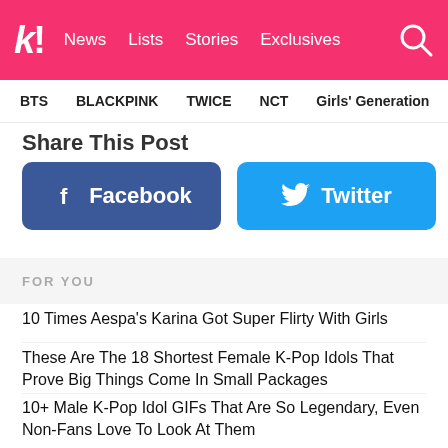K! News Lists Stories Exclusives
BTS  BLACKPINK  TWICE  NCT  Girls' Generation  aespa
Share This Post
[Figure (infographic): Facebook share button (blue, rounded rectangle with Facebook logo icon and text 'Facebook') and Twitter share button (blue, rounded rectangle with Twitter bird icon and text 'Twitter')]
FOR YOU
10 Times Aespa's Karina Got Super Flirty With Girls
These Are The 18 Shortest Female K-Pop Idols That Prove Big Things Come In Small Packages
10+ Male K-Pop Idol GIFs That Are So Legendary, Even Non-Fans Love To Look At Them